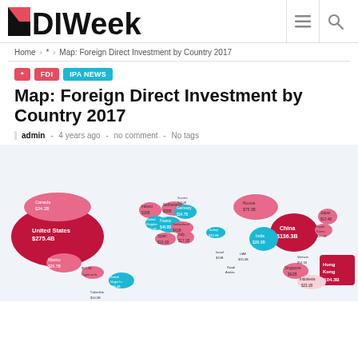FDIWeek
Home > * > Map: Foreign Direct Investment by Country 2017
* FDI IPA NEWS
Map: Foreign Direct Investment by Country 2017
admin - 4 years ago - no comment - No tags
[Figure (map): World map showing Foreign Direct Investment by country in 2017. Key values: United States $275.4B, China $136.3B, Hong Kong $104.3B, Netherlands $58B, France $49.8B, Germany $34.7B, Switzerland $41B, India $39.9B, Russia $75.3B, Ireland $29B, Canada $24.2B, Mexico $29.7B, United Kingdom $15.7B, Spain $19.1B, Italy $17.1B, Japan $10.4B, South Korea $17.1B, Singapore $62B, Indonesia $23.1B, British Virgin Is. $38.4B, Cayman Is. $57.4B]